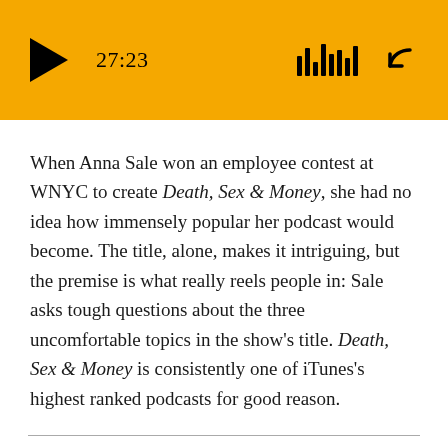[Figure (screenshot): Audio player bar with gold/yellow background showing play button, timestamp 27:23, vertical bars icon, and share/forward icon]
When Anna Sale won an employee contest at WNYC to create Death, Sex & Money, she had no idea how immensely popular her podcast would become. The title, alone, makes it intriguing, but the premise is what really reels people in: Sale asks tough questions about the three uncomfortable topics in the show's title. Death, Sex & Money is consistently one of iTunes's highest ranked podcasts for good reason.
10. Black Girls Talking